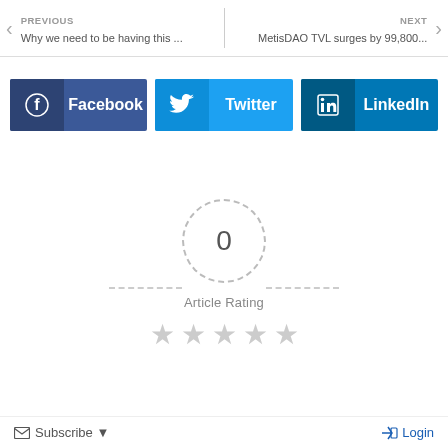PREVIOUS | Why we need to be having this ... | NEXT | MetisDAO TVL surges by 99,800...
[Figure (infographic): Social share buttons for Facebook, Twitter, and LinkedIn]
[Figure (infographic): Article Rating section with dashed circle showing 0, dashed lines, 'Article Rating' label, and 5 empty stars]
Subscribe | Login